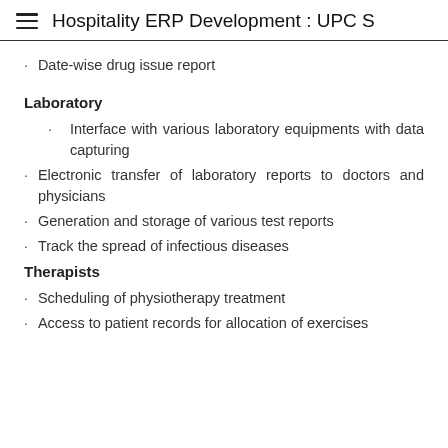Hospitality ERP Development : UPC S
Date-wise drug issue report
Laboratory
Interface with various laboratory equipments with data capturing
Electronic transfer of laboratory reports to doctors and physicians
Generation and storage of various test reports
Track the spread of infectious diseases
Therapists
Scheduling of physiotherapy treatment
Access to patient records for allocation of exercises